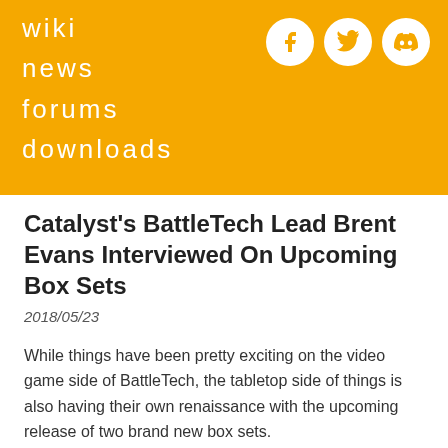wiki
news
forums
downloads
Catalyst's BattleTech Lead Brent Evans Interviewed On Upcoming Box Sets
2018/05/23
While things have been pretty exciting on the video game side of BattleTech, the tabletop side of things is also having their own renaissance with the upcoming release of two brand new box sets.
Catalyst Game Labs' own Brent Evans is on the warpath ensuring that every news site worthy of the name gets the